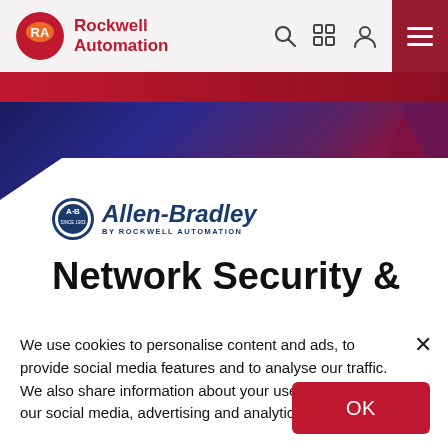Rockwell Automation
[Figure (logo): Allen-Bradley by Rockwell Automation logo]
Network Security &
We use cookies to personalise content and ads, to provide social media features and to analyse our traffic. We also share information about your use of our site with our social media, advertising and analytics partners.